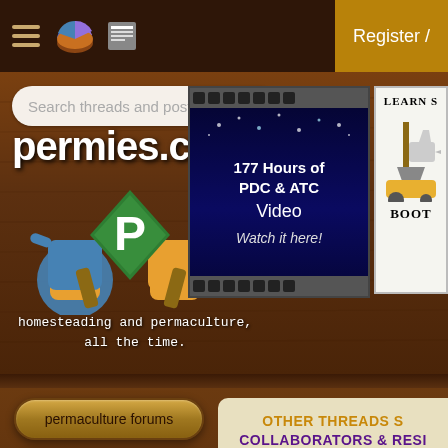permies.com — homesteading and permaculture, all the time.
[Figure (screenshot): Top navigation bar with hamburger menu, pie icon, and news icon on dark brown background. Register button on right in gold/amber.]
[Figure (screenshot): permies.com website header with logo, search bar, '177 Hours of PDC & ATC Video - Watch it here!' advertisement, and 'Learn S... Boot...' ad. Tagline: homesteading and permaculture, all the time.]
permaculture forums
growies
critters
building
OTHER THREADS S COLLABORATORS & RESI IN SOUTH-CE
Live/Work Opportunity
0 replies